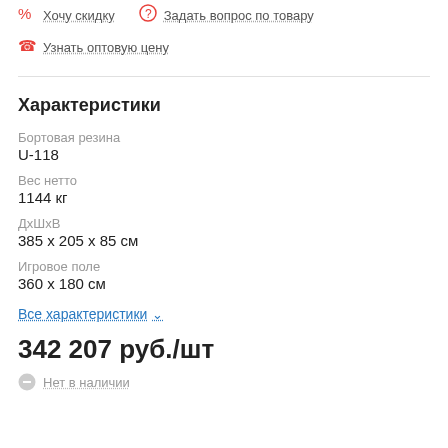Хочу скидку
Задать вопрос по товару
Узнать оптовую цену
Характеристики
Бортовая резина
U-118
Вес нетто
1144 кг
ДхШхВ
385 х 205 х 85 см
Игровое поле
360 х 180 см
Все характеристики
342 207 руб./шт
Нет в наличии